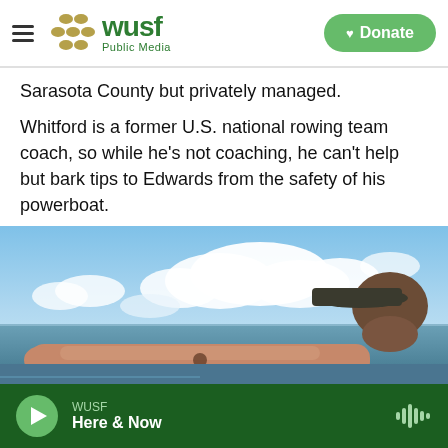WUSF Public Media — Donate
Sarasota County but privately managed.
Whitford is a former U.S. national rowing team coach, so while he's not coaching, he can't help but bark tips to Edwards from the safety of his powerboat.
[Figure (photo): A person wearing a dark cap seen in profile from the right side, arm extended pointing outward, against a backdrop of sky with white clouds and a flat body of water in the distance.]
WUSF — Here & Now (audio player)